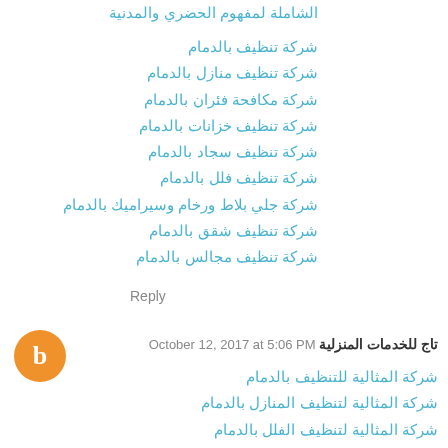الشاملة لمفهوم الحضري والمدنية
شركة تنظيف بالدمام
شركة تنظيف منازل بالدمام
شركة مكافحة فئران بالدمام
شركة تنظيف خزانات بالدمام
شركة تنظيف سجاد بالدمام
شركة تنظيف فلل بالدمام
شركة جلي بلاط ورخام وسيراميك بالدمام
شركة تنظيف شقق بالدمام
شركة تنظيف مجالس بالدمام
Reply
تاج للخدمات المنزلية  October 12, 2017 at 5:06 PM
شركة المثالية للتنظيف بالدمام
شركة المثالية لتنظيف المنازل بالدمام
شركة المثالية لتنظيف الفلل بالدمام
شركة المثالية لتنظيف الشقق بالدمام
شركة المثالية لتنظيف المجالس بالدمام